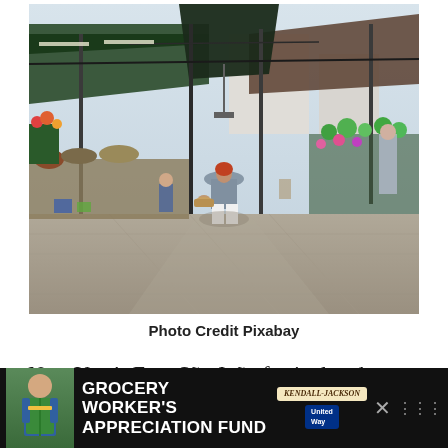[Figure (photo): Outdoor street market with covered stalls selling flowers, produce, and goods. People are seen shopping and arranging items. The market has metal roof structures and a tiled floor pathway.]
Photo Credit Pixabay
New Year's Eve, São João festival and Christmas are the most important festivities in Porto, but Summer time is perfect for street markets, outdoor physical
[Figure (infographic): Advertisement banner: Grocery Worker's Appreciation Fund with Kendall-Jackson and United Way logos, featuring a person in a green apron.]